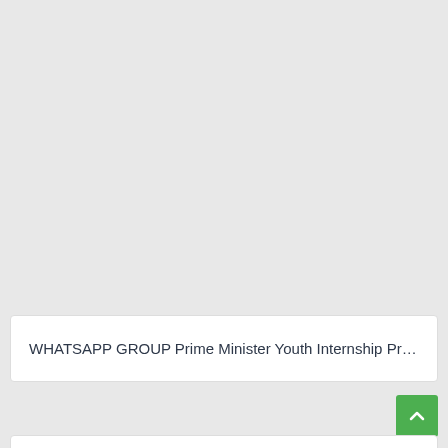WHATSAPP GROUP Prime Minister Youth Internship Progra